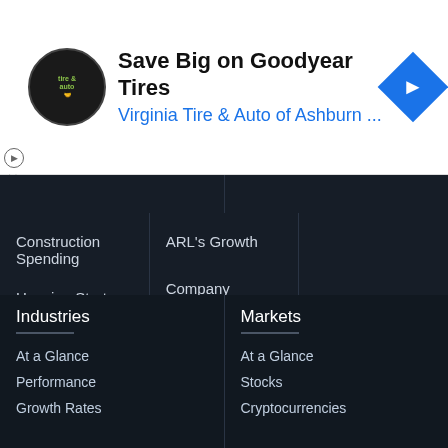[Figure (screenshot): Advertisement banner for Virginia Tire & Auto of Ashburn featuring Goodyear Tires promotion with logo and blue navigation arrow icon]
Save Big on Goodyear Tires
Virginia Tire & Auto of Ashburn ...
ARL's Growth
Company Segments
Construction Spending
Housing Starts
Vehicle Unit Sales
Industries
At a Glance
Performance
Growth Rates
Markets
At a Glance
Stocks
Cryptocurrencies